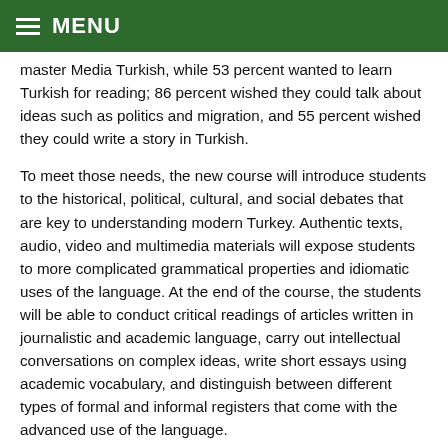MENU
master Media Turkish, while 53 percent wanted to learn Turkish for reading; 86 percent wished they could talk about ideas such as politics and migration, and 55 percent wished they could write a story in Turkish.
To meet those needs, the new course will introduce students to the historical, political, cultural, and social debates that are key to understanding modern Turkey. Authentic texts, audio, video and multimedia materials will expose students to more complicated grammatical properties and idiomatic uses of the language. At the end of the course, the students will be able to conduct critical readings of articles written in journalistic and academic language, carry out intellectual conversations on complex ideas, write short essays using academic vocabulary, and distinguish between different types of formal and informal registers that come with the advanced use of the language.